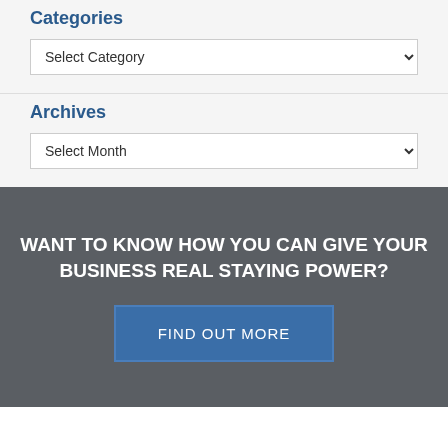Categories
Select Category
Archives
Select Month
WANT TO KNOW HOW YOU CAN GIVE YOUR BUSINESS REAL STAYING POWER?
FIND OUT MORE